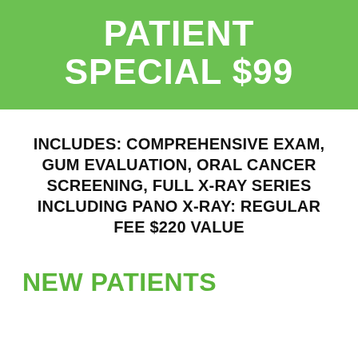PATIENT SPECIAL $99
INCLUDES: COMPREHENSIVE EXAM, GUM EVALUATION, ORAL CANCER SCREENING, FULL X-RAY SERIES INCLUDING PANO X-RAY: REGULAR FEE $220 VALUE
NEW PATIENTS